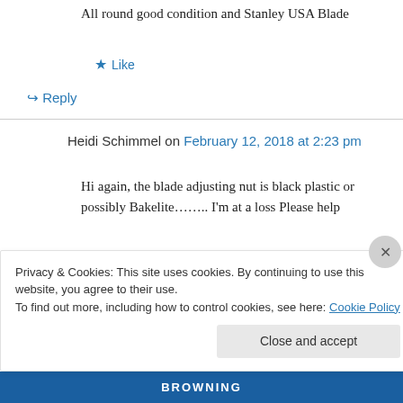All round good condition and Stanley USA Blade
★ Like
↪ Reply
Heidi Schimmel on February 12, 2018 at 2:23 pm
Hi again, the blade adjusting nut is black plastic or possibly Bakelite…….. I'm at a loss Please help
★ Like
Privacy & Cookies: This site uses cookies. By continuing to use this website, you agree to their use. To find out more, including how to control cookies, see here: Cookie Policy
Close and accept